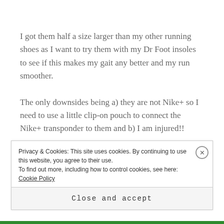I got them half a size larger than my other running shoes as I want to try them with my Dr Foot insoles to see if this makes my gait any better and my run smoother.

The only downsides being a) they are not Nike+ so I need to use a little clip-on pouch to connect the Nike+ transponder to them and b) I am injured!!
Privacy & Cookies: This site uses cookies. By continuing to use this website, you agree to their use.
To find out more, including how to control cookies, see here: Cookie Policy
Close and accept